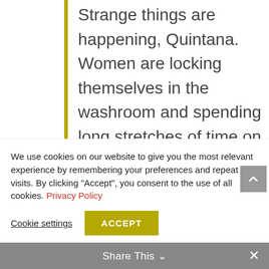Strange things are happening, Quintana. Women are locking themselves in the washroom and spending long stretches of time on the bidet. They say nothing when they come out... There's no confusing the sound of a bidet. I'm incapable of many things my friend, especially of killing my wife. But there are those who could, you see. Who would make her confess, because this ritual of water and ceramic is a threat to
We use cookies on our website to give you the most relevant experience by remembering your preferences and repeat visits. By clicking "Accept", you consent to the use of all cookies. Privacy Policy
Cookie settings
ACCEPT
Share This